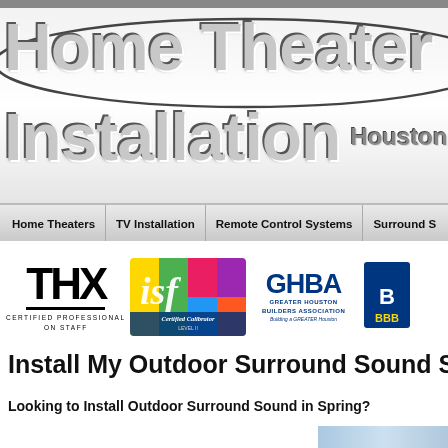[Figure (logo): Home Theater Installation Houston TX website header banner with large stylized text]
Home Theaters | TV Installation | Remote Control Systems | Surround S...
[Figure (logo): Row of certification logos: THX Certified Professional on Staff, ISF Certified Calibrator Level II, GHBA Greater Houston Builders Association, BBB]
Install My Outdoor Surround Sound Spring
Looking to Install Outdoor Surround Sound in Spring?